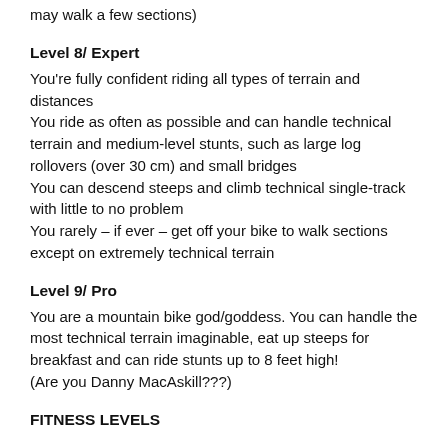may walk a few sections)
Level 8/ Expert
You're fully confident riding all types of terrain and distances
You ride as often as possible and can handle technical terrain and medium-level stunts, such as large log rollovers (over 30 cm) and small bridges
You can descend steeps and climb technical single-track with little to no problem
You rarely – if ever – get off your bike to walk sections except on extremely technical terrain
Level 9/ Pro
You are a mountain bike god/goddess. You can handle the most technical terrain imaginable, eat up steeps for breakfast and can ride stunts up to 8 feet high!
(Are you Danny MacAskill???)
FITNESS LEVELS
Level 1
You're somewhat of a couch potato